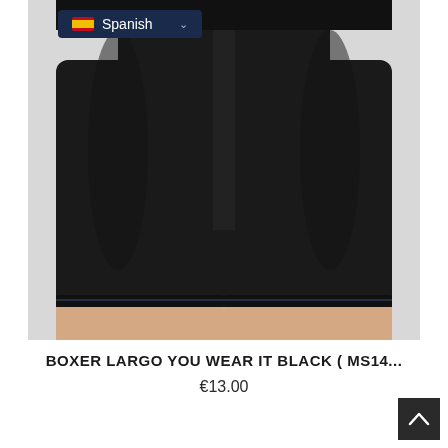[Figure (photo): Product photo of black boxer briefs (Boxer Largo) worn by a model, shown from waist to lower thigh on light gray background. A Spanish language selector dropdown with Spanish flag is overlaid in the top-left corner of the image.]
BOXER LARGO YOU WEAR IT BLACK ( MS14...
€13.00